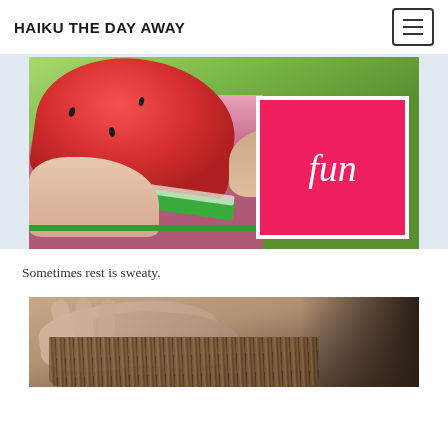HAIKU THE DAY AWAY
[Figure (photo): Child holding up a large slice of watermelon in front of their face, wearing a pink gingham dress. An overlay box with hot pink background and white border contains the word 'fun' in white serif font. Green foliage visible in background.]
Sometimes rest is sweaty.
[Figure (photo): Close-up photo of a person resting their head in their hands, with long hair visible. Dark moody tones suggesting fatigue or rest.]